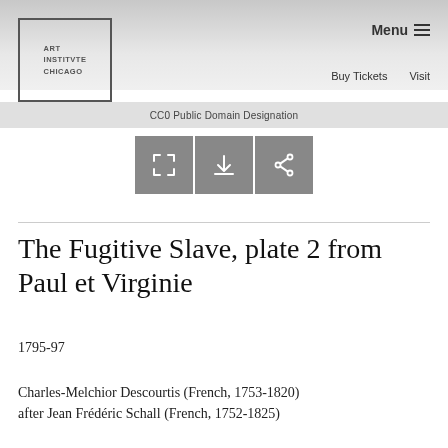[Figure (screenshot): Art Institute of Chicago website screenshot with logo, navigation menu, CC0 Public Domain Designation bar, icon buttons, and artwork details]
ART INSTITVTE CHICAGO
Menu
Buy Tickets    Visit
CC0 Public Domain Designation
The Fugitive Slave, plate 2 from Paul et Virginie
1795-97
Charles-Melchior Descourtis (French, 1753-1820) after Jean Frédéric Schall (French, 1752-1825)